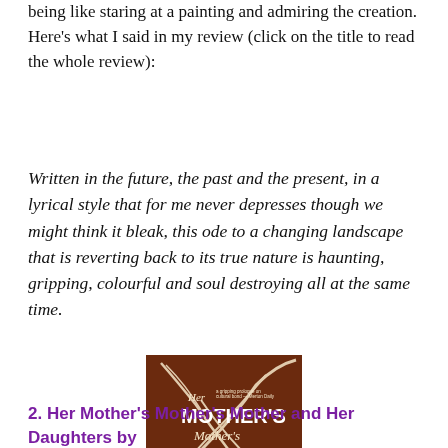being like staring at a painting and admiring the creation. Here's what I said in my review (click on the title to read the whole review):
Written in the future, the past and the present, in a lyrical style that for me never depresses though we might think it bleak, this ode to a changing landscape that is reverting back to its true nature is haunting, gripping, colourful and soul destroying all at the same time.
[Figure (illustration): Book cover of 'Her Mother's Mother's Mother and Her Daughters' by Maria José Silveira. Brown background with white swirling decorative design and white text.]
2. Her Mother's Mother's Mother and Her Daughters by